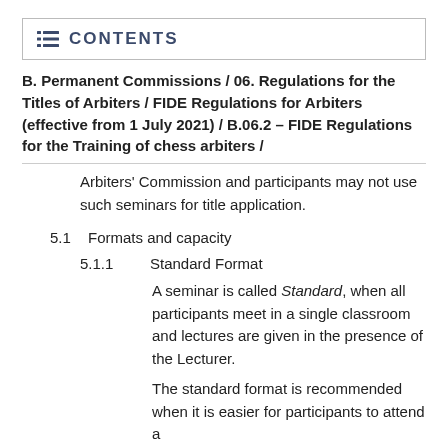CONTENTS
B. Permanent Commissions / 06. Regulations for the Titles of Arbiters / FIDE Regulations for Arbiters (effective from 1 July 2021) / B.06.2 – FIDE Regulations for the Training of chess arbiters /
Arbiters' Commission and participants may not use such seminars for title application.
5.1    Formats and capacity
5.1.1    Standard Format
A seminar is called Standard, when all participants meet in a single classroom and lectures are given in the presence of the Lecturer.
The standard format is recommended when it is easier for participants to attend a